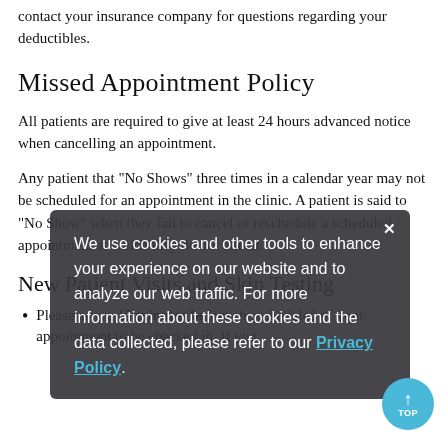contact your insurance company for questions regarding your deductibles.
Missed Appointment Policy
All patients are required to give at least 24 hours advanced notice when cancelling an appointment.
Any patient that "No Shows" three times in a calendar year may not be scheduled for an appointment in the clinic. A patient is said to "No Show" when they fail to cancel or reschedule a scheduled appointment at which they do not attend.
New Patient Visits and Skin Testing
Please arrive 15 minutes before the scheduled of your appointment to be checked in. If you
We use cookies and other tools to enhance your experience on our website and to analyze our web traffic. For more information about these cookies and the data collected, please refer to our Privacy Policy.